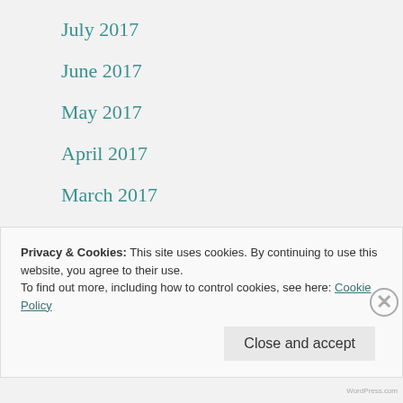July 2017
June 2017
May 2017
April 2017
March 2017
February 2017
October 2016
June 2016
December 2015
Privacy & Cookies: This site uses cookies. By continuing to use this website, you agree to their use.
To find out more, including how to control cookies, see here: Cookie Policy
Close and accept